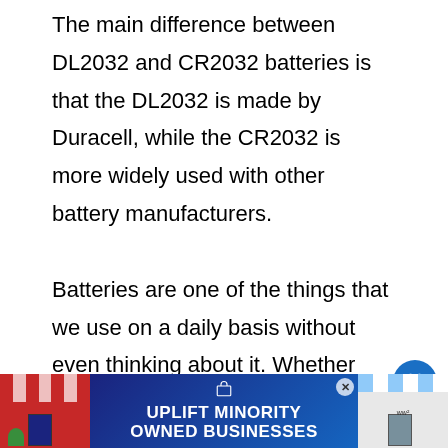The main difference between DL2032 and CR2032 batteries is that the DL2032 is made by Duracell, while the CR2032 is more widely used with other battery manufacturers.
Batteries are one of the things that we use on a daily basis without even thinking about it. Whether you're using batteries for your TV remote, flashlight, or toy car, they can be found in almost every household. J many other products, battery technology co e.
[Figure (screenshot): Social media UI overlay: heart/like button (blue circle with white heart, count '1'), share button (gray circle with share icon), and a 'WHAT'S NEXT' panel showing 'CR2016 VS CR2032...' with a thumbnail image]
[Figure (screenshot): Advertisement banner: 'UPLIFT MINORITY OWNED BUSINESSES' on dark blue gradient background with store icons on left and right, and an X close button]